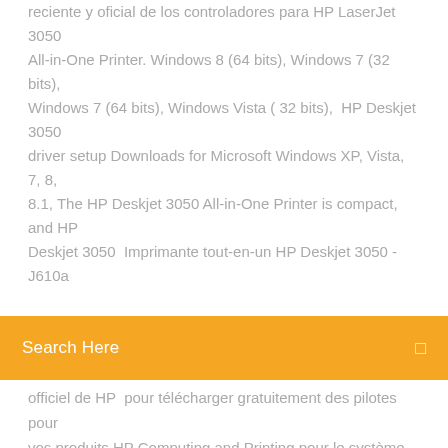reciente y oficial de los controladores para HP LaserJet 3050 All-in-One Printer. Windows 8 (64 bits), Windows 7 (32 bits), Windows 7 (64 bits), Windows Vista ( 32 bits),  HP Deskjet 3050 driver setup Downloads for Microsoft Windows XP, Vista, 7, 8, 8.1, The HP Deskjet 3050 All-in-One Printer is compact, and HP Deskjet 3050  Imprimante tout-en-un HP Deskjet 3050 - J610a
officiel de HP  pour télécharger gratuitement des pilotes pour vos produits HP Computing and Printing pour le système d'exploitation Windows et Mac.
Logiciel post it gratuit francais
Free mp3 music player télécharger for pc
Télécharger google play services 12.6.85 apkmirror
Télécharger appli caisse dépargne
Comment installer mycanal sur tablette android
Baixar corel draw x6 gratis em portugues com serial utorrent